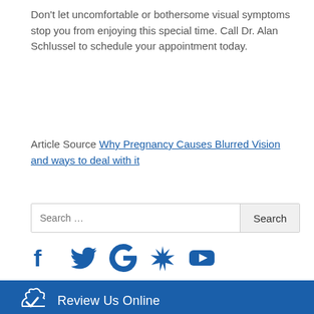Don't let uncomfortable or bothersome visual symptoms stop you from enjoying this special time. Call Dr. Alan Schlussel to schedule your appointment today.
Article Source Why Pregnancy Causes Blurred Vision and ways to deal with it
Search ...
[Figure (infographic): Social media icons: Facebook, Twitter, Google, Yelp, YouTube in blue]
Review Us Online
Online Appointment Booking
Order Vitamins Online